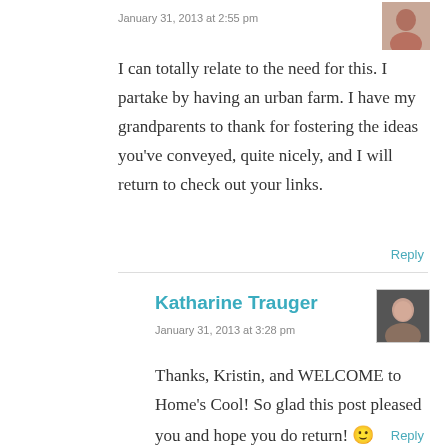January 31, 2013 at 2:55 pm
I can totally relate to the need for this. I partake by having an urban farm. I have my grandparents to thank for fostering the ideas you've conveyed, quite nicely, and I will return to check out your links.
Reply
Katharine Trauger
January 31, 2013 at 3:28 pm
Thanks, Kristin, and WELCOME to Home's Cool! So glad this post pleased you and hope you do return! 🙂